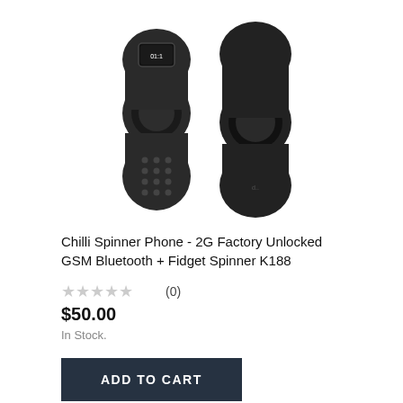[Figure (photo): Two views of the Chilli Spinner Phone K188 — a black fidget-spinner-shaped mobile phone. The left view shows the front with a small screen and numeric keypad. The right view shows the back of the device.]
Chilli Spinner Phone - 2G Factory Unlocked GSM Bluetooth + Fidget Spinner K188
★★★★★ (0)
$50.00
In Stock.
ADD TO CART